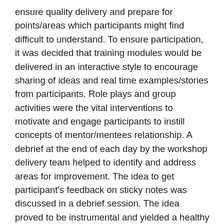ensure quality delivery and prepare for points/areas which participants might find difficult to understand. To ensure participation, it was decided that training modules would be delivered in an interactive style to encourage sharing of ideas and real time examples/stories from participants. Role plays and group activities were the vital interventions to motivate and engage participants to instill concepts of mentor/mentees relationship. A debrief at the end of each day by the workshop delivery team helped to identify and address areas for improvement. The idea to get participant's feedback on sticky notes was discussed in a debrief session. The idea proved to be instrumental and yielded a healthy amount of participant feedback. Post training workshop activities were also decided in the planning phase of the PHSM scheme. As of today, follow up activities with mentors and mentees are in progress. The first phase of follow up activities is to get the detailed information of mentors and mentees on a standardized template. Once, all the information is received, the next phase is to create a central information database. The information database will serve to match a mentee with a suitable mentor. After matching, mentor and mentee will start a